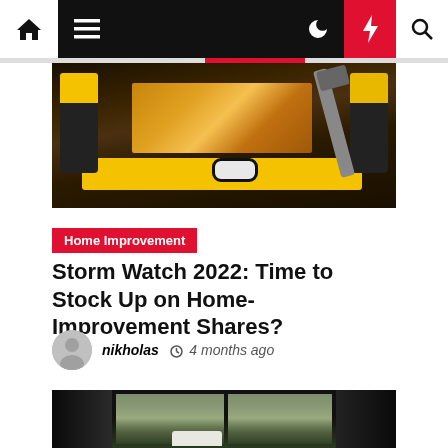Home | Menu | Dark mode | Lightning | Search
[Figure (photo): Top hero image showing home improvement tools including a yellow level, tape measures, a hammer, and wooden board on a dark surface]
Home Improvement
Storm Watch 2022: Time to Stock Up on Home-Improvement Shares?
nikholas  4 months ago
[Figure (photo): Bottom image showing a dark interior with a window looking out to trees and a vehicle outside]